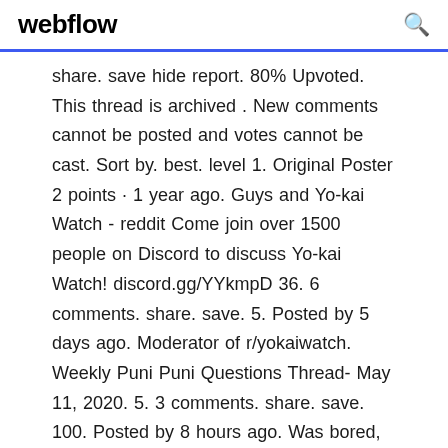webflow
share. save hide report. 80% Upvoted. This thread is archived . New comments cannot be posted and votes cannot be cast. Sort by. best. level 1. Original Poster 2 points · 1 year ago. Guys and Yo-kai Watch - reddit Come join over 1500 people on Discord to discuss Yo-kai Watch! discord.gg/YYkmpD 36. 6 comments. share. save. 5. Posted by 5 days ago. Moderator of r/yokaiwatch. Weekly Puni Puni Questions Thread- May 11, 2020. 5. 3 comments. share. save. 100. Posted by 8 hours ago. Was bored, so I photoshopped a mock up of what Yo-Kai Watch 4's title screen would look like in English. 100. 14 comments Reincarnated Yokai - Part 3 - Haunted Legacy - Reincarnated Yokai